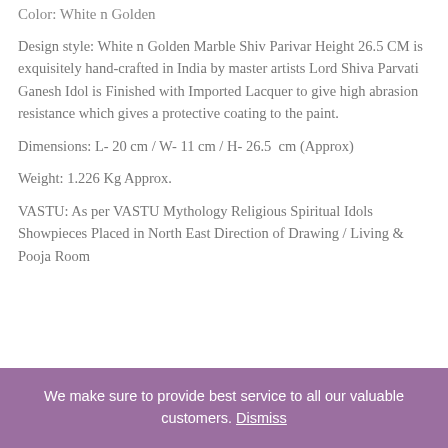Color: White n Golden
Design style: White n Golden Marble Shiv Parivar Height 26.5 CM is exquisitely hand-crafted in India by master artists Lord Shiva Parvati Ganesh Idol is Finished with Imported Lacquer to give high abrasion resistance which gives a protective coating to the paint.
Dimensions: L- 20 cm / W- 11 cm / H- 26.5 cm (Approx)
Weight: 1.226 Kg Approx.
VASTU: As per VASTU Mythology Religious Spiritual Idols Showpieces Placed in North East Direction of Drawing / Living & Pooja Room
We make sure to provide best service to all our valuable customers. Dismiss